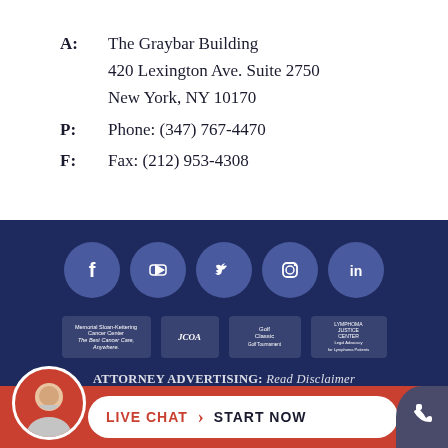A: The Graybar Building 420 Lexington Ave. Suite 2750 New York, NY 10170
P: Phone: (347) 767-4470
F: Fax: (212) 953-4308
[Figure (infographic): Social media icons: Facebook, YouTube, Twitter, Instagram, LinkedIn on dark navy background]
[Figure (infographic): Partner logos: Memorial Sloan Kettering Cancer Center, JCOA, Golf Classic, Lymphoma Justice Center]
ATTORNEY ADVERTISING: Read Disclaimer
LIVE CHAT › START NOW